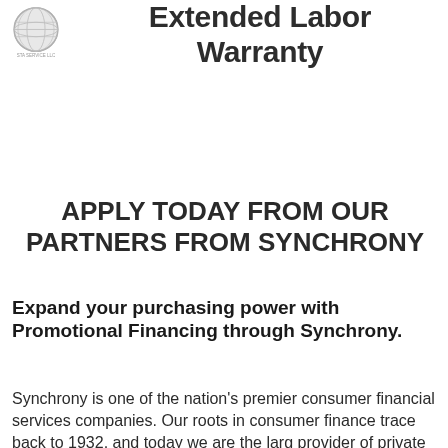[Figure (logo): Circular logo with globe/sphere icon and text below it]
Extended Labor Warranty
APPLY TODAY FROM OUR PARTNERS FROM SYNCHRONY
Expand your purchasing power with Promotional Financing through Synchrony.
Synchrony is one of the nation's premier consumer financial services companies. Our roots in consumer finance trace back to 1932, and today we are the larg provider of private label credit cards in the United Sta